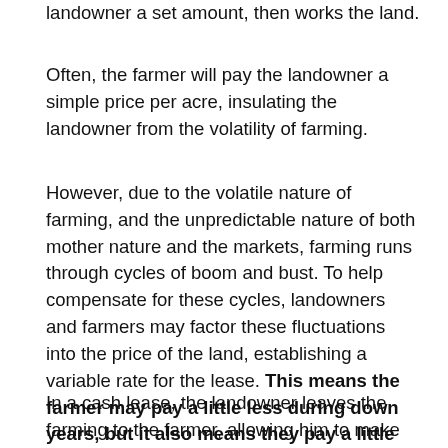landowner a set amount, then works the land.
Often, the farmer will pay the landowner a simple price per acre, insulating the landowner from the volatility of farming.
However, due to the volatile nature of farming, and the unpredictable nature of both mother nature and the markets, farming runs through cycles of boom and bust. To help compensate for these cycles, landowners and farmers may factor these fluctuations into the price of the land, establishing a variable rate for the lease. This means the farmer may pay a little less during down years, but it also means they pay a little more with a bumper crop.
In a cash lease, the landowner leaves the farming to the farmer, allowing him to make the calls, sell the product and take care of everything else. This also means the landowner is not considered to be